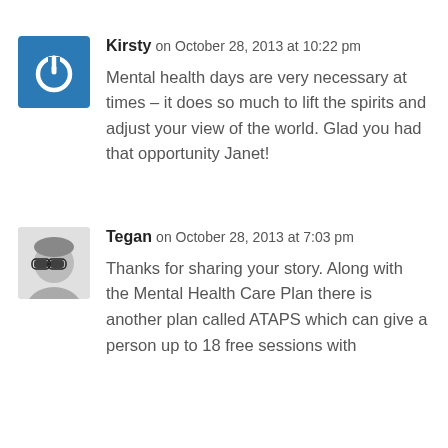[Figure (illustration): Blue square avatar with white power button icon for user Kirsty]
Kirsty on October 28, 2013 at 10:22 pm
Mental health days are very necessary at times – it does so much to lift the spirits and adjust your view of the world. Glad you had that opportunity Janet!
[Figure (photo): Grayscale photo of Tegan wearing sunglasses]
Tegan on October 28, 2013 at 7:03 pm
Thanks for sharing your story. Along with the Mental Health Care Plan there is another plan called ATAPS which can give a person up to 18 free sessions with